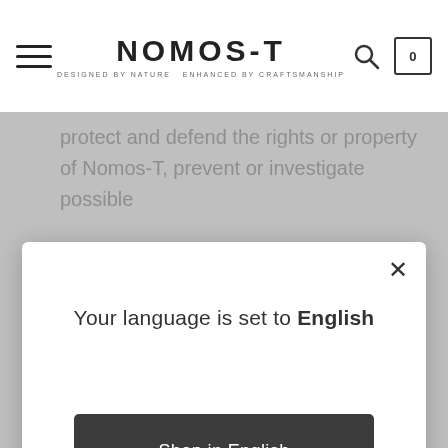NOMOS-T — DESIGNED BY NATURE ENHANCED BY CRAFTSMANSHIP
protect and defend the rights or property of Nomos-T, prevent or investigate possible
individual.
5. COMMUNICATION PREFERENCES
To provide our Services to you, we may send you
Your language is set to English
Shop in English
Change language